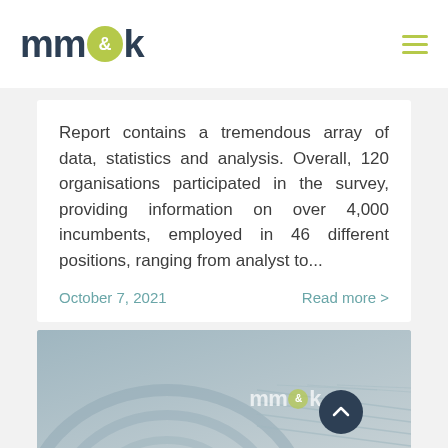mm&k
Report contains a tremendous array of data, statistics and analysis. Overall, 120 organisations participated in the survey, providing information on over 4,000 incumbents, employed in 46 different positions, ranging from analyst to...
October 7, 2021
Read more >
[Figure (photo): Architectural exterior building photo with mm&k logo watermark overlaid, and scroll-to-top button in the bottom-right corner]